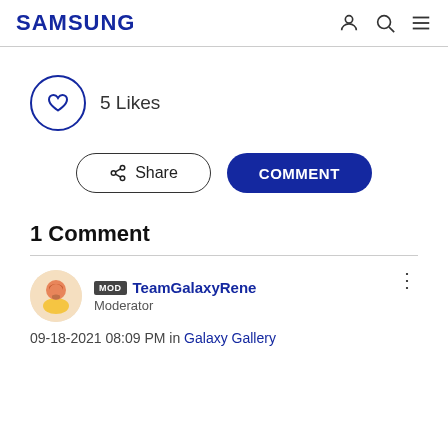SAMSUNG
5 Likes
Share
COMMENT
1 Comment
MOD TeamGalaxyRene
Moderator
09-18-2021 08:09 PM in Galaxy Gallery